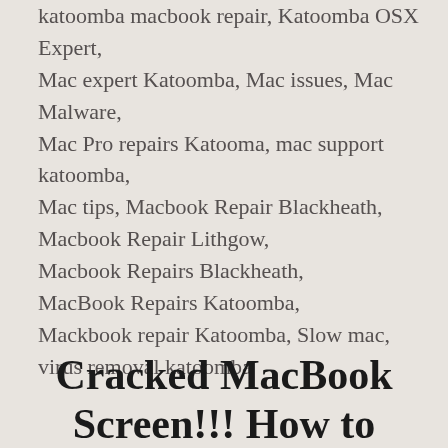katoomba macbook repair, Katoomba OSX Expert, Mac expert Katoomba, Mac issues, Mac Malware, Mac Pro repairs Katooma, mac support katoomba, Mac tips, Macbook Repair Blackheath, Macbook Repair Lithgow, Macbook Repairs Blackheath, MacBook Repairs Katoomba, Mackbook repair Katoomba, Slow mac, virus removal katoomba
Cracked MacBook Screen!!! How to